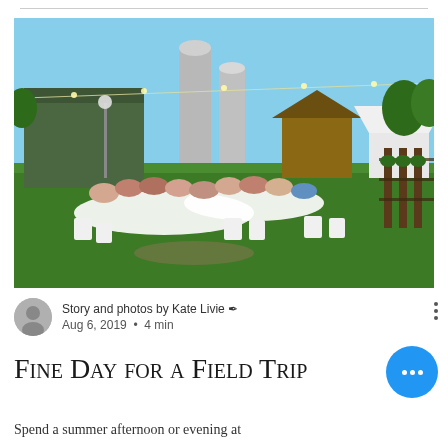[Figure (photo): Outdoor farm dinner scene with people seated at long white-cloth tables on a green lawn, grain silos and farm buildings in background, string lights overhead, vineyard rows to the right, blue sky.]
Story and photos by Kate Livie ✏ Aug 6, 2019 • 4 min
Fine Day for a Field Trip
Spend a summer afternoon or evening at